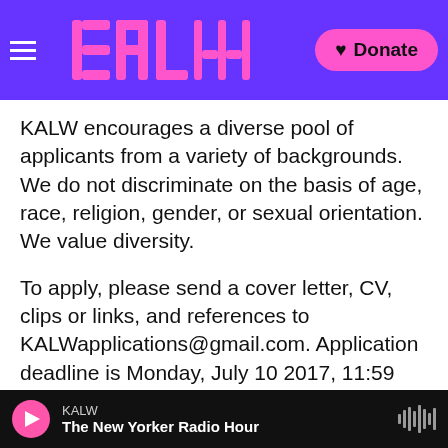KALW logo and Donate button
KALW encourages a diverse pool of applicants from a variety of backgrounds. We do not discriminate on the basis of age, race, religion, gender, or sexual orientation. We value diversity.
To apply, please send a cover letter, CV, clips or links, and references to KALWapplications@gmail.com. Application deadline is Monday, July 10 2017, 11:59 PT.
Tags   KALW News   KALW News
KALW – The New Yorker Radio Hour